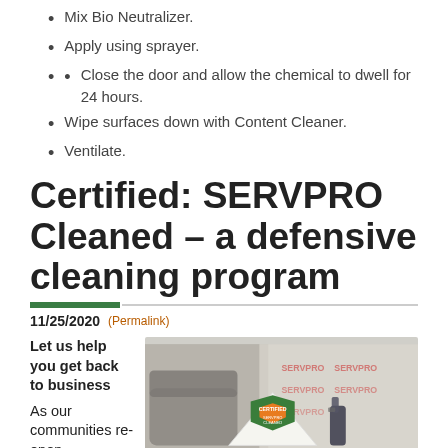Mix Bio Neutralizer.
Apply using sprayer.
Close the door and allow the chemical to dwell for 24 hours.
Wipe surfaces down with Content Cleaner.
Ventilate.
Certified: SERVPRO Cleaned – a defensive cleaning program
11/25/2020 (Permalink)
Let us help you get back to business
As our communities re-open,
[Figure (photo): Photo of a SERVPRO Certified Cleaned tent card on a table in an office setting, with a bottle of cleaning product visible in the background. The tent card shows a green and orange shield logo with 'CERTIFIED SERVPRO CLEANED' text.]